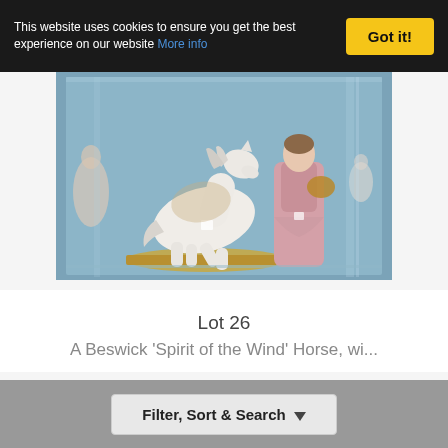This website uses cookies to ensure you get the best experience on our website More info Got it!
[Figure (photo): A display case containing a white Beswick 'Spirit of the Wind' horse figurine on a gold base, next to a Lladro-style porcelain lady figure in a pink dress holding a basket. Additional figurines visible in the background.]
Lot 26
A Beswick 'Spirit of the Wind' Horse, wi...
Filter, Sort & Search